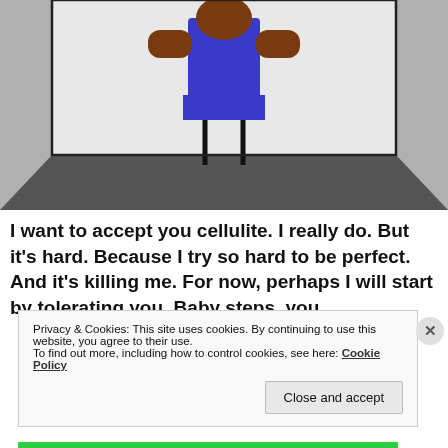[Figure (illustration): Cartoon stick-figure illustration of a person with brown skin wearing a blue outfit, standing on a dark stage or floor. The figure is cropped so only the torso and below is visible, set against a light grey background with a rectangular white/light panel behind the figure.]
I want to accept you cellulite. I really do. But it’s hard. Because I try so hard to be perfect. And it’s killing me. For now, perhaps I will start by tolerating you. Baby steps, you
Privacy & Cookies: This site uses cookies. By continuing to use this website, you agree to their use.
To find out more, including how to control cookies, see here: Cookie Policy
Close and accept